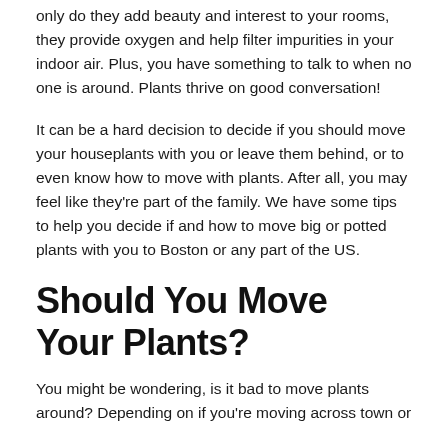only do they add beauty and interest to your rooms, they provide oxygen and help filter impurities in your indoor air. Plus, you have something to talk to when no one is around. Plants thrive on good conversation!
It can be a hard decision to decide if you should move your houseplants with you or leave them behind, or to even know how to move with plants. After all, you may feel like they’re part of the family. We have some tips to help you decide if and how to move big or potted plants with you to Boston or any part of the US.
Should You Move Your Plants?
You might be wondering, is it bad to move plants around? Depending on if you’re moving across town or